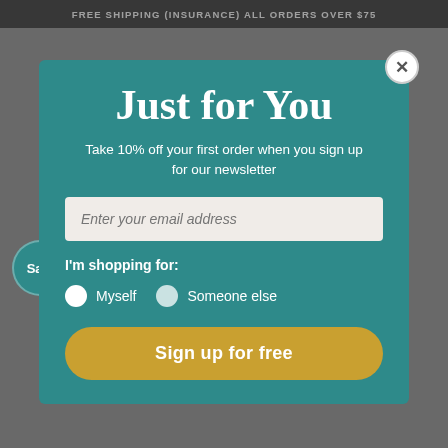FREE SHIPPING (INSURANCE) ALL ORDERS OVER $75
[Figure (screenshot): E-commerce website popup modal with teal background. Shows 'Just for You' heading, newsletter signup with 10% off offer, email input field, radio buttons for 'Myself' and 'Someone else', and a 'Sign up for free' button in gold/yellow.]
Just for You
Take 10% off your first order when you sign up for our newsletter
Enter your email address
I'm shopping for:
Myself
Someone else
Sign up for free